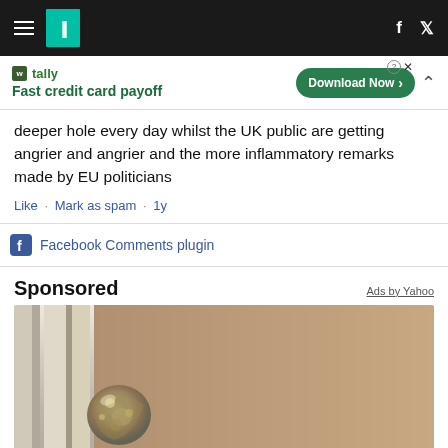HuffPost navigation with hamburger menu, HuffPost logo, Facebook and Twitter icons
[Figure (infographic): Tally app advertisement banner: 'Fast credit card payoff' with Download Now button]
deeper hole every day whilst the UK public are getting angrier and angrier and the more inflammatory remarks made by EU politicians
Like · Mark as spam · 1y
Facebook Comments plugin
Sponsored
Ads by Yahoo
[Figure (photo): Close-up photo of a metallic door knob or lock mechanism on a wooden door]